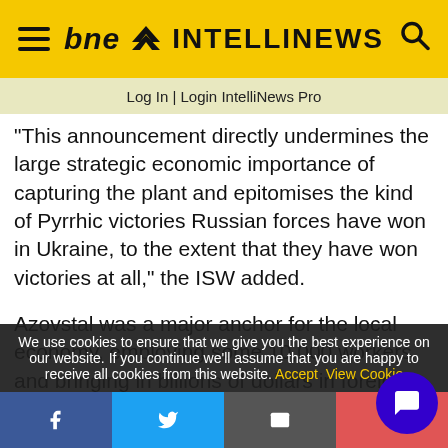bne INTELLINEWS
Log In | Login IntelliNews Pro
This announcement directly undermines the large strategic economic importance of capturing the plant and epitomises the kind of Pyrrhic victories Russian forces have won in Ukraine, to the extent that they have won victories at all,” the ISW added.
Azovstal was a major anchor for the local economy, employing some 10,000 workers and bringing in billions of dollars in foreign exchange earnings for the country as well as significant taxes for the
We use cookies to ensure that we give you the best experience on our website. If you continue we’ll assume that you are happy to receive all cookies from this website. Accept  View Cookie
Facebook  Twitter  Email  Share